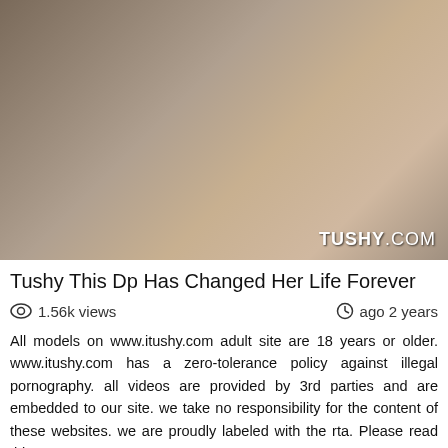[Figure (photo): Thumbnail image from adult video website tushy.com with watermark 'TUSHY.COM' in bottom right corner]
Tushy This Dp Has Changed Her Life Forever
1.56k views
ago 2 years
All models on www.itushy.com adult site are 18 years or older. www.itushy.com has a zero-tolerance policy against illegal pornography. all videos are provided by 3rd parties and are embedded to our site. we take no responsibility for the content of these websites. we are proudly labeled with the rta. Please read this page